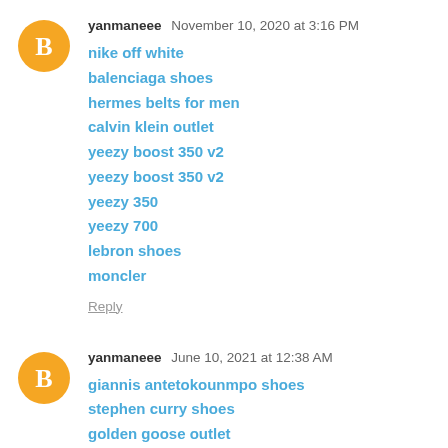yanmaneee  November 10, 2020 at 3:16 PM
nike off white
balenciaga shoes
hermes belts for men
calvin klein outlet
yeezy boost 350 v2
yeezy boost 350 v2
yeezy 350
yeezy 700
lebron shoes
moncler
Reply
yanmaneee  June 10, 2021 at 12:38 AM
giannis antetokounmpo shoes
stephen curry shoes
golden goose outlet
kd shoes